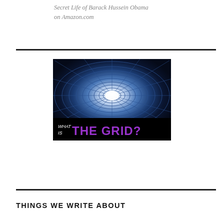Secret Life of Barack Hussein Obama on Amazon.com
[Figure (illustration): Dark tunnel with grid/web pattern converging to a bright white light in the center. Bottom of image has text: 'What Is THE GRID?' in white and purple lettering.]
THINGS WE WRITE ABOUT